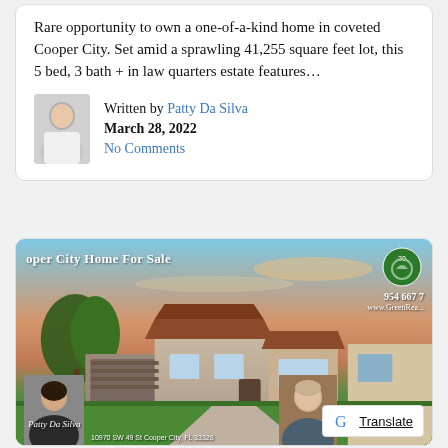Rare opportunity to own a one-of-a-kind home in coveted Cooper City. Set amid a sprawling 41,255 square feet lot, this 5 bed, 3 bath + in law quarters estate features…
Written by Patty Da Silva
March 28, 2022
No Comments
[Figure (photo): Real estate listing image for a Cooper City Home For Sale showing a single-story house with tile roof at dusk/sunset, two agent photos at the bottom, green logo in top right, and a Google Translate button overlay]